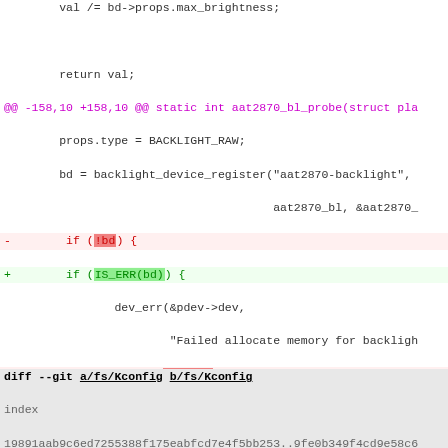Code diff showing changes to aat2870 backlight driver and fs/Kconfig
diff --git a/fs/Kconfig b/fs/Kconfig
index 19891aab9c6ed7255388f175eabfcd7e4f5bb253..9fe0b349f4cd9e58c6
100644 (file)
--- a/fs/Kconfig